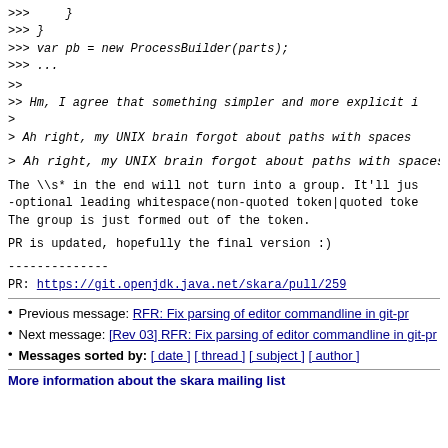>>>     }
>>> }
>>> var pb = new ProcessBuilder(parts);
>>> ...
>>
>> Hm, I agree that something simpler and more explicit i
>
> Ah right, my UNIX brain forgot about paths with spaces
> Ah right, my UNIX brain forgot about paths with spaces
The \\s* in the end will not turn into a group. It'll jus
-optional leading whitespace(non-quoted token|quoted toke
The group is just formed out of the token.
PR is updated, hopefully the final version :)
--------------
PR:  https://git.openjdk.java.net/skara/pull/259
Previous message: RFR: Fix parsing of editor commandline in git-pr
Next message: [Rev 03] RFR: Fix parsing of editor commandline in git-pr
Messages sorted by: [ date ] [ thread ] [ subject ] [ author ]
More information about the skara mailing list